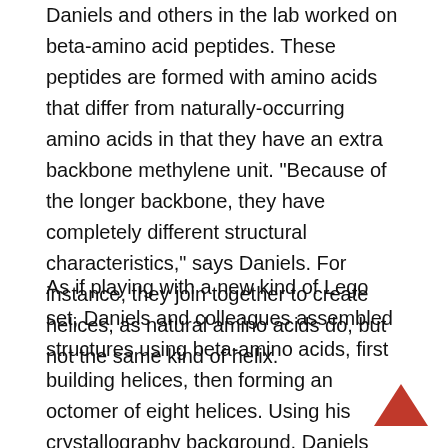Daniels and others in the lab worked on beta-amino acid peptides. These peptides are formed with amino acids that differ from naturally-occurring amino acids in that they have an extra backbone methylene unit. "Because of the longer backbone, they have completely different structural characteristics," says Daniels. For instance, they join together to create helices, as natural amino acids do, but not the same kind of helix.
As if playing with a new kind of Lego set, Daniels and colleagues assembled structures using beta-amino acids, first building helices, then forming an octomer of eight helices. Using his crystallography background, Daniels solved the resulting structure and found that the helices had associated to form a globular protein-like structure, complete with protein-like folds. Having achieved this, says Daniels, “you can start to think about it as a starting point for the design of peptides with specific enzymatic